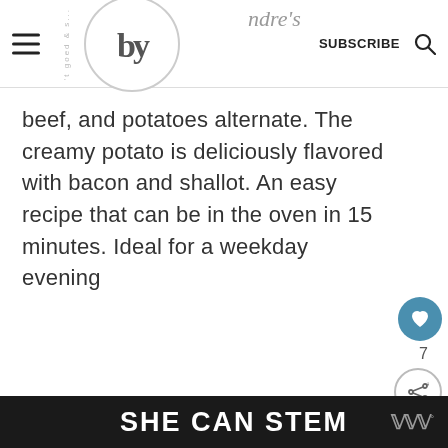by andrea's — SUBSCRIBE [search icon]
beef, and potatoes alternate. The creamy potato is deliciously flavored with bacon and shallot. An easy recipe that can be in the oven in 15 minutes. Ideal for a weekday evening
[Figure (photo): Food photo showing creamy potato gratin with bacon on a wooden cutting board]
WHAT'S NEXT → High tea deluxe...
SHE CAN STEM